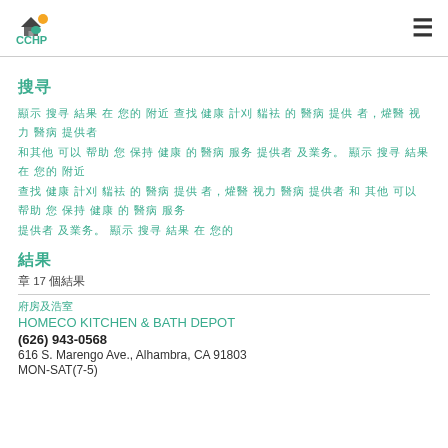CCHP
搜索
顯示 搜尋 結果 在 您的 附近 查找 健康 計劃 覆蓋 的 醫療 提供 者，牙醫 視力 醫療 提供者 和 其他 可以 幫助 您 保持 健康 的 醫療 服務 提供者 及業務。 顯示 搜尋 結果 在 您的 附近
結果
第 17 個結果
廚房及浴室
HOMECO KITCHEN & BATH DEPOT
(626) 943-0568
616 S. Marengo Ave., Alhambra, CA 91803
MON-SAT(7-5)